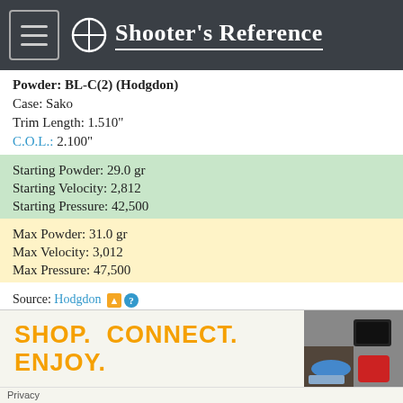Shooter's Reference
Powder: BL-C(2) (Hodgdon)
Case: Sako
Trim Length: 1.510"
C.O.L.: 2.100"
Starting Powder: 29.0 gr
Starting Velocity: 2,812
Starting Pressure: 42,500
Max Powder: 31.0 gr
Max Velocity: 3,012
Max Pressure: 47,500
Source: Hodgdon
SHOP. CONNECT. ENJOY.
Privacy